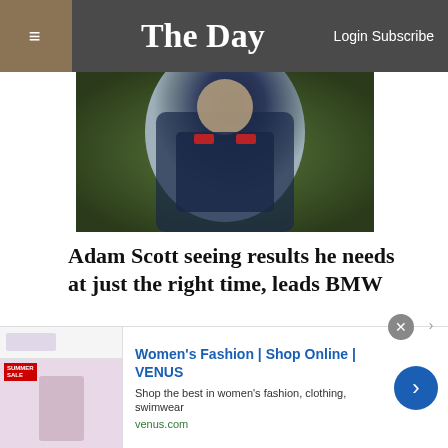≡  The Day  Login Subscribe
[Figure (photo): Golfer Adam Scott photographed from close up, wearing dark navy clothing with logos, mid-swing or pose, green bokeh background]
Adam Scott seeing results he needs at just the right time, leads BMW
Wilmington, Del. — Adam Scott felt he was playing well enough that he should start seeing some better scores at some point. That moment appears to have arrived at just the right time. Scott put togeth...
[Figure (photo): Partial view of another article photo, green outdoor scene]
[Figure (other): Advertisement banner: Women's Fashion | Shop Online | VENUS. Shop the best in women's fashion, clothing, swimwear. venus.com]